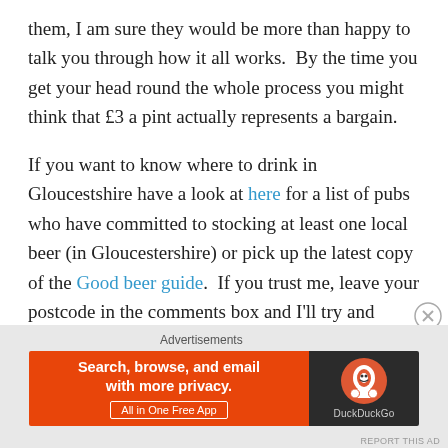them, I am sure they would be more than happy to talk you through how it all works.  By the time you get your head round the whole process you might think that £3 a pint actually represents a bargain.
If you want to know where to drink in Gloucestshire have a look at here for a list of pubs who have committed to stocking at least one local beer (in Gloucestershire) or pick up the latest copy of the Good beer guide.  If you trust me, leave your postcode in the comments box and I'll try and respond with some pubs that I think are ace with say 10 miles of where your based (as long as your from Gloucestershire).
[Figure (other): DuckDuckGo advertisement banner: orange left panel with text 'Search, browse, and email with more privacy. All in One Free App' and dark right panel with DuckDuckGo logo and name.]